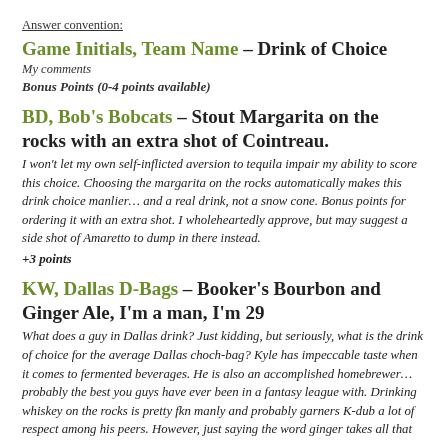Answer convention:
Game Initials, Team Name – Drink of Choice
My comments
Bonus Points (0-4 points available)
BD, Bob's Bobcats – Stout Margarita on the rocks with an extra shot of Cointreau.
I won't let my own self-inflicted aversion to tequila impair my ability to score this choice. Choosing the margarita on the rocks automatically makes this drink choice manlier… and a real drink, not a snow cone. Bonus points for ordering it with an extra shot. I wholeheartedly approve, but may suggest a side shot of Amaretto to dump in there instead.
+3 points
KW, Dallas D-Bags – Booker's Bourbon and Ginger Ale, I'm a man, I'm 29
What does a guy in Dallas drink? Just kidding, but seriously, what is the drink of choice for the average Dallas choch-bag? Kyle has impeccable taste when it comes to fermented beverages. He is also an accomplished homebrewer… probably the best you guys have ever been in a fantasy league with. Drinking whiskey on the rocks is pretty fkn manly and probably garners K-dub a lot of respect among his peers. However, just saying the word ginger takes all that